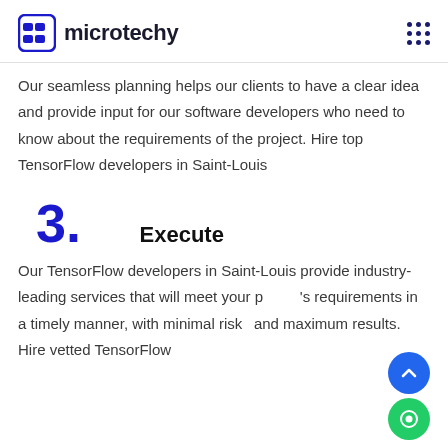microtechy
Our seamless planning helps our clients to have a clear idea and provide input for our software developers who need to know about the requirements of the project. Hire top TensorFlow developers in Saint-Louis
3.
Execute
Our TensorFlow developers in Saint-Louis provide industry-leading services that will meet your project's requirements in a timely manner, with minimal risks and maximum results. Hire vetted TensorFlow